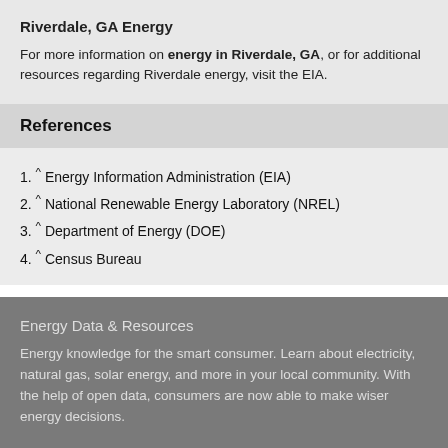Riverdale, GA Energy
For more information on energy in Riverdale, GA, or for additional resources regarding Riverdale energy, visit the EIA.
References
1. ^ Energy Information Administration (EIA)
2. ^ National Renewable Energy Laboratory (NREL)
3. ^ Department of Energy (DOE)
4. ^ Census Bureau
Energy Data & Resources
Energy knowledge for the smart consumer. Learn about electricity, natural gas, solar energy, and more in your local community. With the help of open data, consumers are now able to make wiser energy decisions.